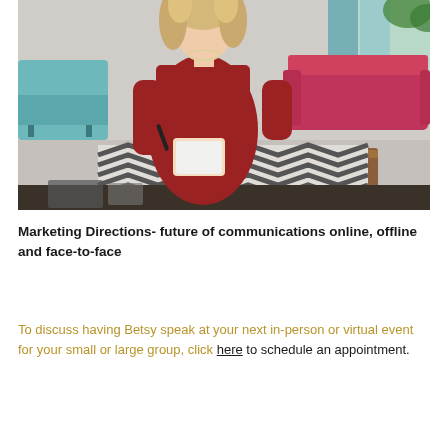[Figure (photo): A woman with curly blonde hair wearing a red dress, standing and holding a notepad and pen in what appears to be a modern living room with a teal sofa, a red/pink sofa, a wooden coffee table, and a patterned rug.]
Marketing Directions- future of communications online, offline and face-to-face
To discuss having Betsy speak at your next in-person or virtual event for your small or large group, click here to schedule an appointment.